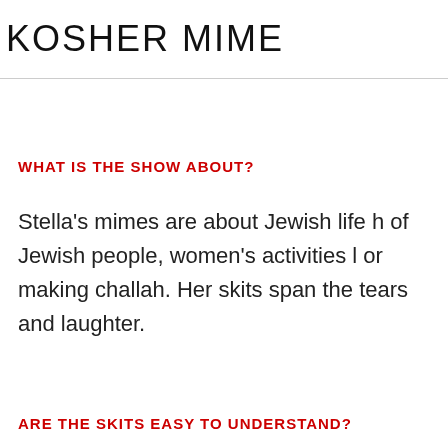KOSHER MIME
WHAT IS THE SHOW ABOUT?
Stella's mimes are about Jewish life h of Jewish people, women's activities l or making challah. Her skits span the tears and laughter.
ARE THE SKITS EASY TO UNDERSTAND?